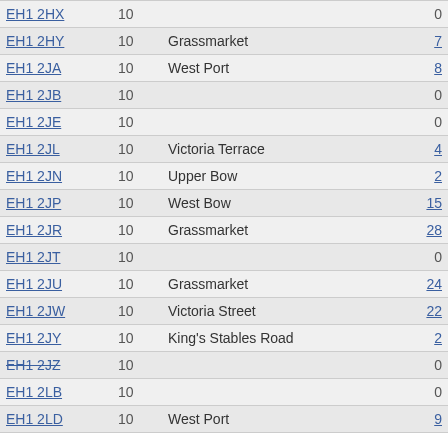| Postcode | Count | Street | Number |
| --- | --- | --- | --- |
| EH1 2HX | 10 |  | 0 |
| EH1 2HY | 10 | Grassmarket | 7 |
| EH1 2JA | 10 | West Port | 8 |
| EH1 2JB | 10 |  | 0 |
| EH1 2JE | 10 |  | 0 |
| EH1 2JL | 10 | Victoria Terrace | 4 |
| EH1 2JN | 10 | Upper Bow | 2 |
| EH1 2JP | 10 | West Bow | 15 |
| EH1 2JR | 10 | Grassmarket | 28 |
| EH1 2JT | 10 |  | 0 |
| EH1 2JU | 10 | Grassmarket | 24 |
| EH1 2JW | 10 | Victoria Street | 22 |
| EH1 2JY | 10 | King's Stables Road | 2 |
| EH1 2JZ | 10 |  | 0 |
| EH1 2LB | 10 |  | 0 |
| EH1 2LD | 10 | West Port | 9 |